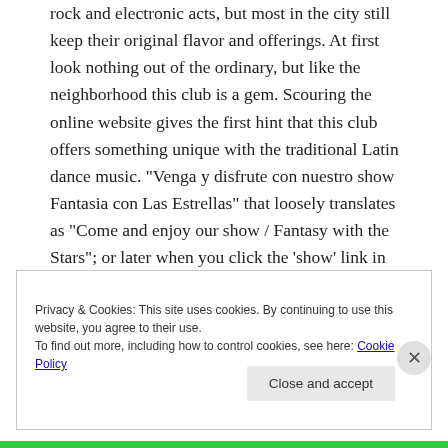rock and electronic acts, but most in the city still keep their original flavor and offerings. At first look nothing out of the ordinary, but like the neighborhood this club is a gem. Scouring the online website gives the first hint that this club offers something unique with the traditional Latin dance music. "Venga y disfrute con nuestro show Fantasia con Las Estrellas" that loosely translates as "Come and enjoy our show / Fantasy with the Stars"; or later when you click the 'show' link in the menu sidebar "Ven y disfruta con nuestro travesty show Fantasia Con Las
Privacy & Cookies: This site uses cookies. By continuing to use this website, you agree to their use.
To find out more, including how to control cookies, see here: Cookie Policy